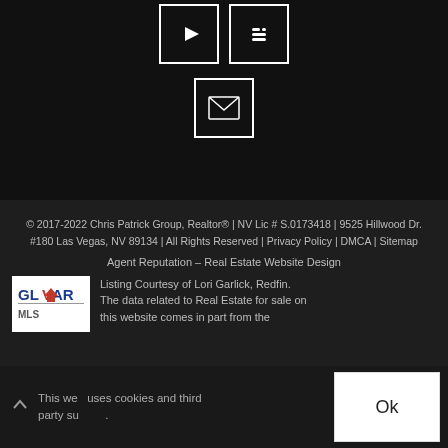[Figure (other): Social media icon buttons: YouTube play button icon and Blogger icon, both in white outlined squares on dark background, and below them a single email envelope icon in a white outlined square]
© 2017-2022 Chris Patrick Group, Realtor® | NV Lic # S.0173418 | 9525 Hillwood Dr. #180 Las Vegas, NV 89134 | All Rights Reserved | Privacy Policy | DMCA | Sitemap
Agent Reputation – Real Estate Website Design
Listing Courtesy of Lori Garlick, Redfin. The data related to Real Estate for sale on this website comes in part from the
[Figure (logo): GLVAR MLS logo in white background box]
This website uses cookies and third party su...
Ok